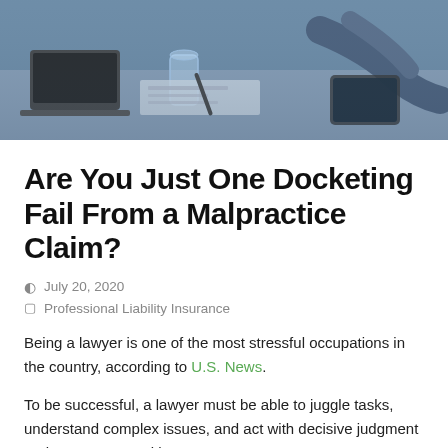[Figure (photo): Photo of people at a desk with laptops, papers, a glass of water, one person writing with a pen — office/legal work scene.]
Are You Just One Docketing Fail From a Malpractice Claim?
July 20, 2020
Professional Liability Insurance
Being a lawyer is one of the most stressful occupations in the country, according to U.S. News.
To be successful, a lawyer must be able to juggle tasks, understand complex issues, and act with decisive judgment under pressure—with no room